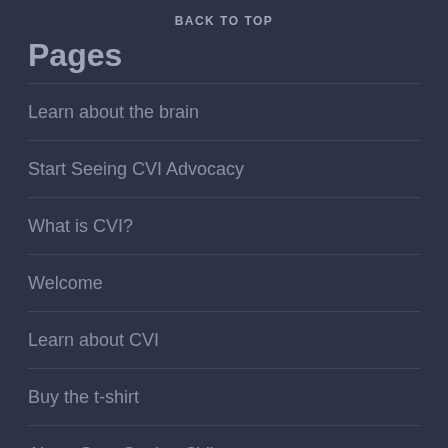BACK TO TOP
Pages
Learn about the brain
Start Seeing CVI Advocacy
What is CVI?
Welcome
Learn about CVI
Buy the t-shirt
About Start Seeing CVI
Blog